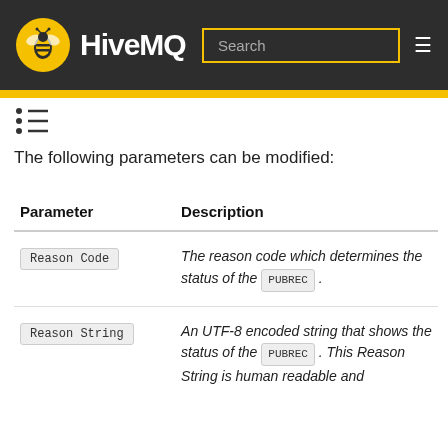HiveMQ
The following parameters can be modified:
| Parameter | Description |
| --- | --- |
| Reason Code | The reason code which determines the status of the PUBREC. |
| Reason String | An UTF-8 encoded string that shows the status of the PUBREC. This Reason String is human readable and |